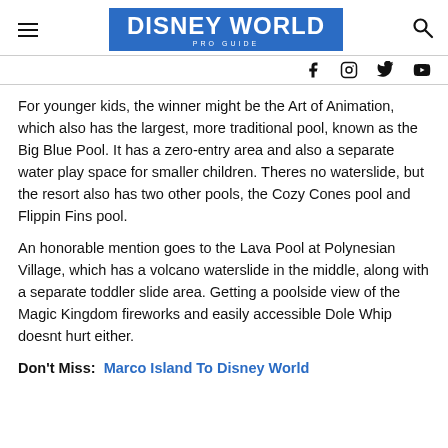DISNEY WORLD PRO GUIDE
For younger kids, the winner might be the Art of Animation, which also has the largest, more traditional pool, known as the Big Blue Pool. It has a zero-entry area and also a separate water play space for smaller children. Theres no waterslide, but the resort also has two other pools, the Cozy Cones pool and Flippin Fins pool.
An honorable mention goes to the Lava Pool at Polynesian Village, which has a volcano waterslide in the middle, along with a separate toddler slide area. Getting a poolside view of the Magic Kingdom fireworks and easily accessible Dole Whip doesnt hurt either.
Don't Miss:  Marco Island To Disney World